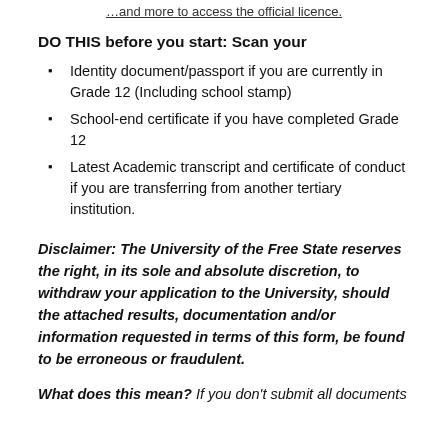…and more to access the official licence.
DO THIS before you start: Scan your
Identity document/passport if you are currently in Grade 12 (Including school stamp)
School-end certificate if you have completed Grade 12
Latest Academic transcript and certificate of conduct if you are transferring from another tertiary institution.
Disclaimer: The University of the Free State reserves the right, in its sole and absolute discretion, to withdraw your application to the University, should the attached results, documentation and/or information requested in terms of this form, be found to be erroneous or fraudulent.
What does this mean? If you don't submit all documents